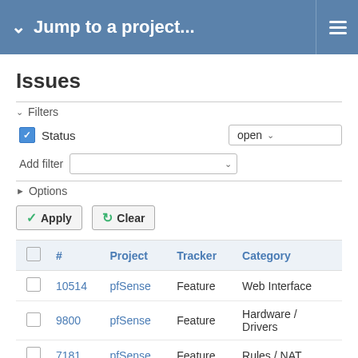Jump to a project...
Issues
Filters
Status — open
Add filter
Options
Apply  Clear
|  | # | Project | Tracker | Category |
| --- | --- | --- | --- | --- |
|  | 10514 | pfSense | Feature | Web Interface |
|  | 9800 | pfSense | Feature | Hardware / Drivers |
|  | 7181 | pfSense | Feature | Rules / NAT |